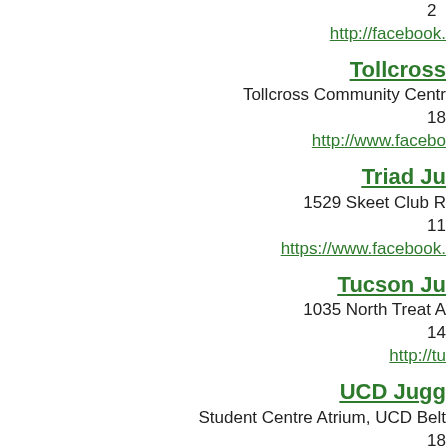20
http://facebook.
Tollcross
Tollcross Community Centr
18
http://www.facebo
Triad Ju
1529 Skeet Club R
11
https://www.facebook.
Tucson Ju
1035 North Treat A
14
http://tu
UCD Jugg
Student Centre Atrium, UCD Belt
18
http://ww
UNH Jug
Memorial Union Building (MUB), University of